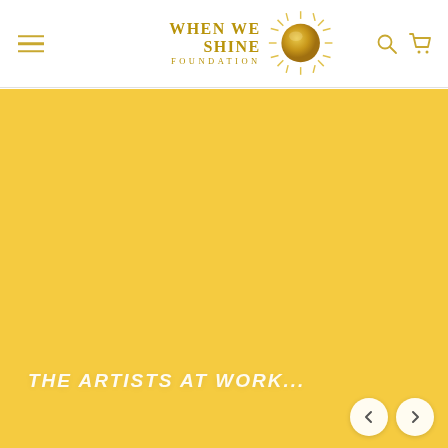[Figure (logo): When We Shine Foundation logo with golden sun rays and text]
THE ARTISTS AT WORK...
[Figure (illustration): Yellow/golden banner slide area with navigation arrows]